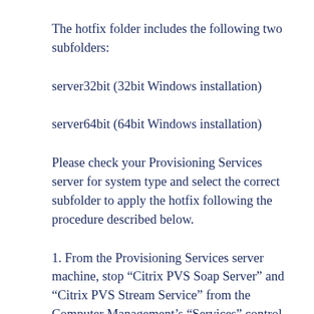The hotfix folder includes the following two subfolders:
server32bit (32bit Windows installation)
server64bit (64bit Windows installation)
Please check your Provisioning Services server for system type and select the correct subfolder to apply the hotfix following the procedure described below.
1. From the Provisioning Services server machine, stop “Citrix PVS Soap Server” and “Citrix PVS Stream Service” from the Computer Management’s “Services” control panel.